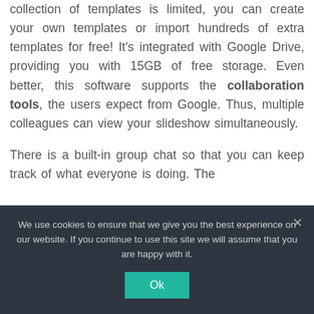collection of templates is limited, you can create your own templates or import hundreds of extra templates for free! It's integrated with Google Drive, providing you with 15GB of free storage. Even better, this software supports the collaboration tools, the users expect from Google. Thus, multiple colleagues can view your slideshow simultaneously.

There is a built-in group chat so that you can keep track of what everyone is doing. The
We use cookies to ensure that we give you the best experience on our website. If you continue to use this site we will assume that you are happy with it. Ok